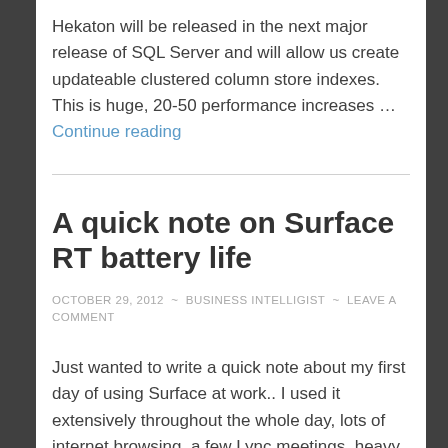Hekaton will be released in the next major release of SQL Server and will allow us create updateable clustered column store indexes. This is huge, 20-50 performance increases … Continue reading
A quick note on Surface RT battery life
OCTOBER 29, 2012 ~ BUSINESS INTELLIGIST ~ LEAVE A COMMENT
Just wanted to write a quick note about my first day of using Surface at work.. I used it extensively throughout the whole day, lots of internet browsing, a few Lync meetings, heavy emails. As of right now, the battery is at 58% without